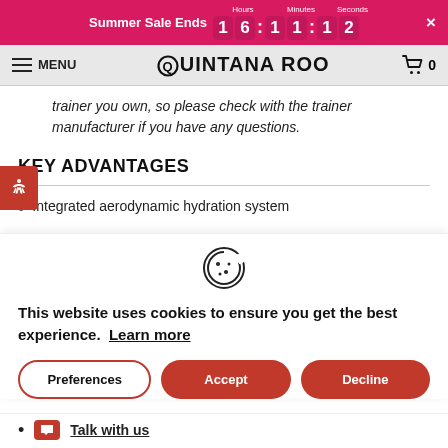Summer Sale Ends 16:11:12 ×
MENU QUINTANA ROO 0
trainer you own, so please check with the trainer manufacturer if you have any questions.
KEY ADVANTAGES
Integrated aerodynamic hydration system
[Figure (other): Cookie consent icon (cookie emoji)]
This website uses cookies to ensure you get the best experience. Learn more
Talk with us